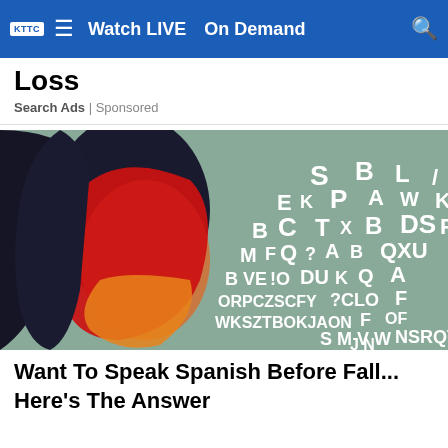KTTC  ≡  Watch LIVE  On Demand  🔍
Loss
Search Ads | Sponsored
[Figure (photo): Woman with red and orange color overlay on her face, surrounded by floating white alphabet letters on a teal/grey background]
Want To Speak Spanish Before Fall... Here's The Answer